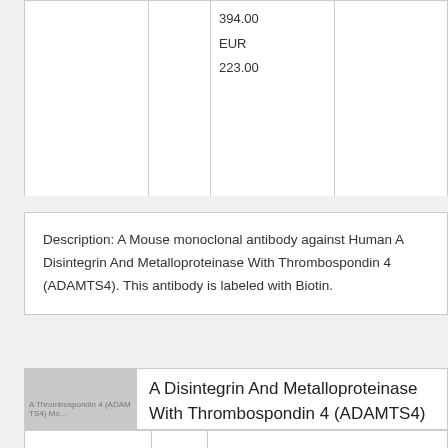|  |  | 394.00
EUR
223.00 |  |
Description: A Mouse monoclonal antibody against Human A Disintegrin And Metalloproteinase With Thrombospondin 4 (ADAMTS4). This antibody is labeled with Biotin.
[Figure (photo): Product image placeholder for A Disintegrin And Metalloproteinase With Thrombospondin 4 (ADAMTS4) Monoclonal Antibody (Human), Cy3 — grey placeholder with partial text label]
A Disintegrin And Metalloproteinase With Thrombospondin 4 (ADAMTS4) Monoclonal Antibody (Human), Cy3
|  |  |  |